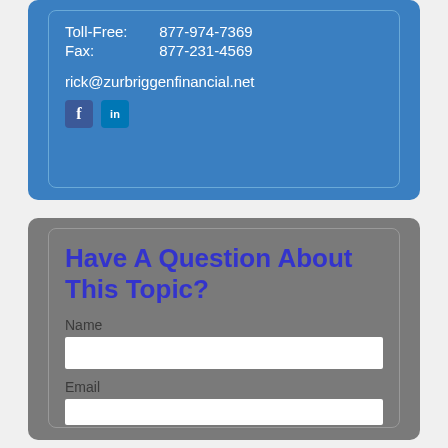Toll-Free: 877-974-7369
Fax: 877-231-4569
rick@zurbriggenfinancial.net
[Figure (other): Facebook and LinkedIn social media icons]
Have A Question About This Topic?
Name
Email